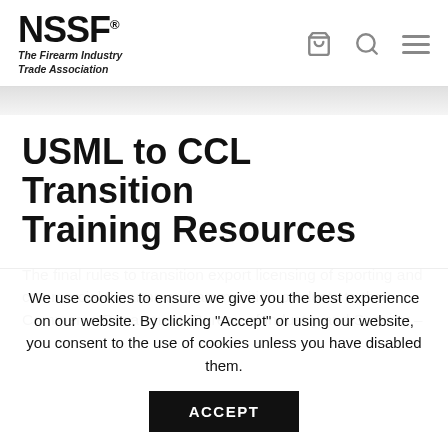NSSF® The Firearm Industry Trade Association
USML to CCL Transition Training Resources
The final rules to transition export licensing of sporting and commercial firearms and ammunition products to the Commerce Department (Bureau of Industry and Security –
We use cookies to ensure we give you the best experience on our website. By clicking "Accept" or using our website, you consent to the use of cookies unless you have disabled them.
ACCEPT